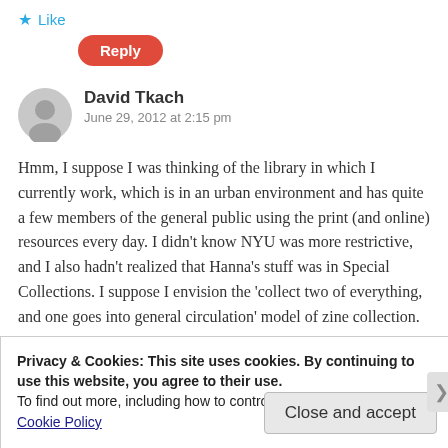★ Like
Reply
David Tkach
June 29, 2012 at 2:15 pm
Hmm, I suppose I was thinking of the library in which I currently work, which is in an urban environment and has quite a few members of the general public using the print (and online) resources every day. I didn't know NYU was more restrictive, and I also hadn't realized that Hanna's stuff was in Special Collections. I suppose I envision the 'collect two of everything, and one goes into general circulation' model of zine collection.
Privacy & Cookies: This site uses cookies. By continuing to use this website, you agree to their use.
To find out more, including how to control cookies, see here:
Cookie Policy
Close and accept